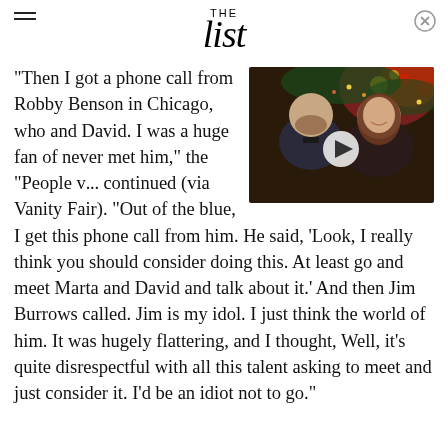THE list
[Figure (photo): Video thumbnail showing a man in a tuxedo and a woman smiling, with Christmas decorations in background. Play button overlay.]
"Then I got a phone call from Robby Benson in Chicago, w[ho was directing it] and David. I was a huge fan o[f him and had] never met him," the "People v[...] continued (via Vanity Fair). "Out of the blue, I get this phone call from him. He said, 'Look, I really think you should consider doing this. At least go and meet Marta and David and talk about it.' And then Jim Burrows called. Jim is my idol. I just think the world of him. It was hugely flattering, and I thought, Well, it's quite disrespectful with all this talent asking to meet and just consider it. I'd be an idiot not to go."